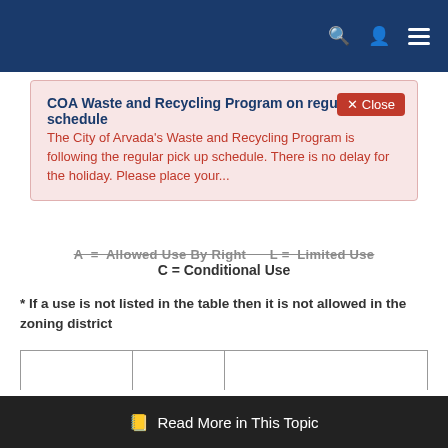Navigation bar with search, user, and menu icons
COA Waste and Recycling Program on regular schedule The City of Arvada's Waste and Recycling Program is following the regular pick up schedule. There is no delay for the holiday. Please place your...
A = Allowed Use By Right   L = Limited Use   C = Conditional Use
* If a use is not listed in the table then it is not allowed in the zoning district
| Use Classification | Use Allowance | Additional Regulations Found in the Land Development |
| --- | --- | --- |
Read More in This Topic